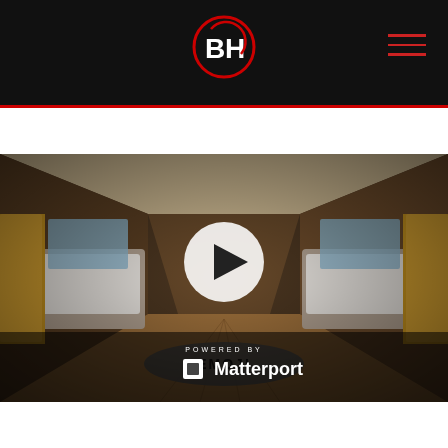BH Logo | EMOJI | SUNSEEKER — navigation header
EMOJI | SUNSEEKER
[Figure (photo): Interior of a luxury yacht salon showing a wide corridor with wood floors, white sofas on either side, large windows, and an 'EMOJI' logo mat on the floor. A play button overlay is centered on the image. At the bottom, 'POWERED BY Matterport' branding is displayed.]